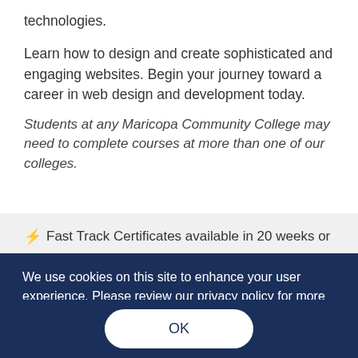technologies.
Learn how to design and create sophisticated and engaging websites. Begin your journey toward a career in web design and development today.
Students at any Maricopa Community College may need to complete courses at more than one of our colleges.
⚡ Fast Track Certificates available in 20 weeks or
We use cookies on this site to enhance your user experience. Please review our privacy policy for more information.
OK